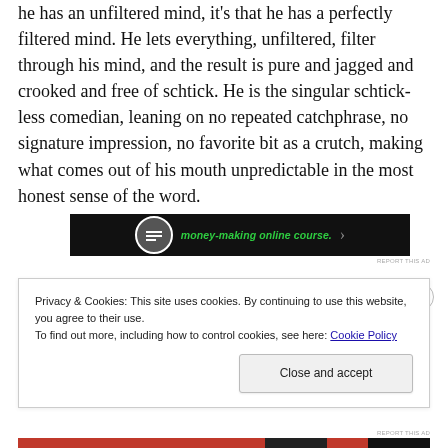he has an unfiltered mind, it's that he has a perfectly filtered mind. He lets everything, unfiltered, filter through his mind, and the result is pure and jagged and crooked and free of schtick. He is the singular schtick-less comedian, leaning on no repeated catchphrase, no signature impression, no favorite bit as a crutch, making what comes out of his mouth unpredictable in the most honest sense of the word.
[Figure (other): Advertisement banner with dark background showing text 'money-making online course.' in green italic font]
REPORT THIS AD
Privacy & Cookies: This site uses cookies. By continuing to use this website, you agree to their use.
To find out more, including how to control cookies, see here: Cookie Policy
Close and accept